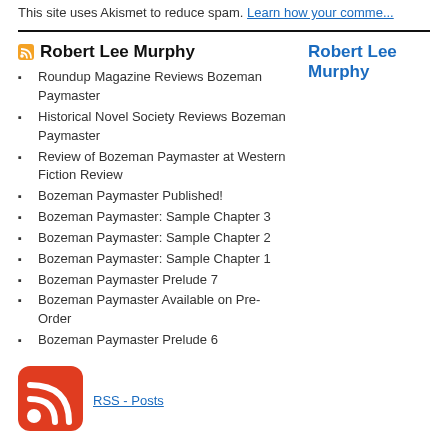This site uses Akismet to reduce spam. Learn how your comme...
Robert Lee Murphy
Robert Lee Murphy
Roundup Magazine Reviews Bozeman Paymaster
Historical Novel Society Reviews Bozeman Paymaster
Review of Bozeman Paymaster at Western Fiction Review
Bozeman Paymaster Published!
Bozeman Paymaster: Sample Chapter 3
Bozeman Paymaster: Sample Chapter 2
Bozeman Paymaster: Sample Chapter 1
Bozeman Paymaster Prelude 7
Bozeman Paymaster Available on Pre-Order
Bozeman Paymaster Prelude 6
[Figure (logo): RSS feed icon — red rounded square with white RSS signal symbol]
RSS - Posts